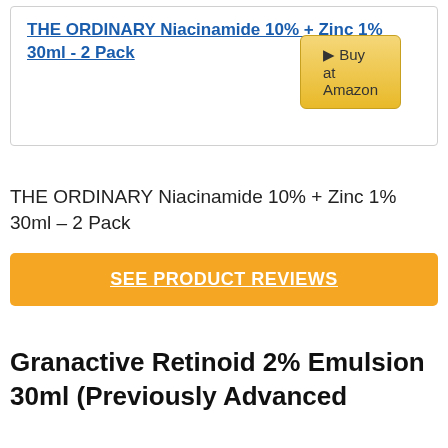THE ORDINARY Niacinamide 10% + Zinc 1% 30ml - 2 Pack
[Figure (other): Buy at Amazon button]
THE ORDINARY Niacinamide 10% + Zinc 1% 30ml – 2 Pack
SEE PRODUCT REVIEWS
Granactive Retinoid 2% Emulsion 30ml (Previously Advanced